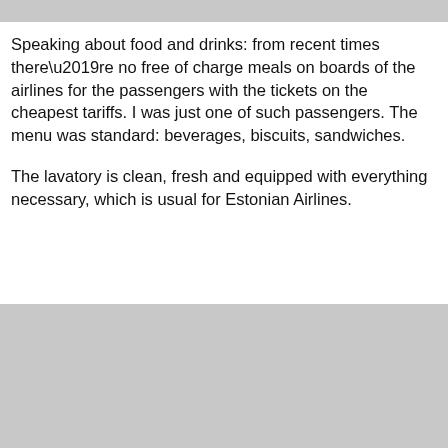[Figure (photo): Gray rectangle at the top of the page]
Speaking about food and drinks: from recent times there’re no free of charge meals on boards of the airlines for the passengers with the tickets on the cheapest tariffs. I was just one of such passengers. The menu was standard: beverages, biscuits, sandwiches.
The lavatory is clean, fresh and equipped with everything necessary, which is usual for Estonian Airlines.
[Figure (photo): Gray rectangle at the bottom of the page]